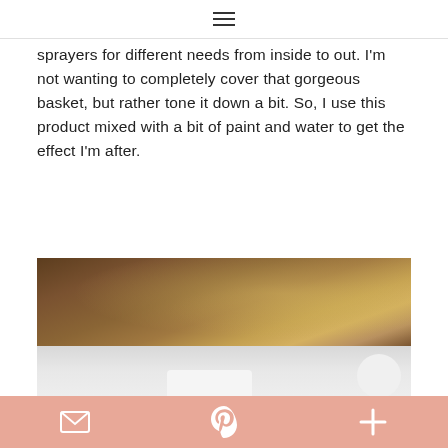≡
sprayers for different needs from inside to out. I'm not wanting to completely cover that gorgeous basket, but rather tone it down a bit. So, I use this product mixed with a bit of paint and water to get the effect I'm after.
[Figure (photo): Close-up photo of a woven wicker basket (top portion, brown tones) with paint supplies below (white container and round object on light gray background)]
mail icon | Pinterest icon | plus icon